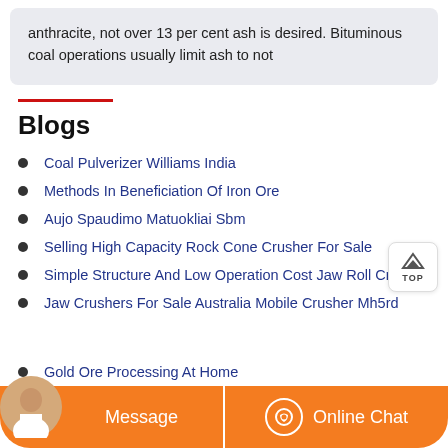anthracite, not over 13 per cent ash is desired. Bituminous coal operations usually limit ash to not
Blogs
Coal Pulverizer Williams India
Methods In Beneficiation Of Iron Ore
Aujo Spaudimo Matuokliai Sbm
Selling High Capacity Rock Cone Crusher For Sale
Simple Structure And Low Operation Cost Jaw Roll Crusher
Jaw Crushers For Sale Australia Mobile Crusher Mh5rd
Gold Ore Processing At Home